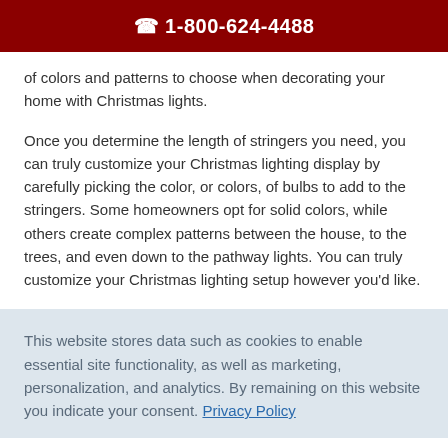☎ 1-800-624-4488
of colors and patterns to choose when decorating your home with Christmas lights.
Once you determine the length of stringers you need, you can truly customize your Christmas lighting display by carefully picking the color, or colors, of bulbs to add to the stringers. Some homeowners opt for solid colors, while others create complex patterns between the house, to the trees, and even down to the pathway lights. You can truly customize your Christmas lighting setup however you'd like.
This website stores data such as cookies to enable essential site functionality, as well as marketing, personalization, and analytics. By remaining on this website you indicate your consent. Privacy Policy